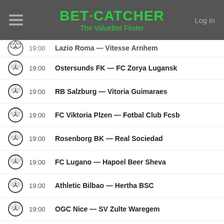BET·CATCHER The ValueBet Finder
19:00  Lazio Roma — Vitesse Arnhem
19:00  Ostersunds FK — FC Zorya Lugansk
19:00  RB Salzburg — Vitoria Guimaraes
19:00  FC Viktoria Plzen — Fotbal Club Fcsb
19:00  Rosenborg BK — Real Sociedad
19:00  FC Lugano — Hapoel Beer Sheva
19:00  Athletic Bilbao — Hertha BSC
19:00  OGC Nice — SV Zulte Waregem
Euroleague
19:00  BC Zalgiris Kaunas — Efes Anadolu Istanbul
Sweden SHL
19:00  Malmoe IF — Vaxjo Lakers
19:00  Frolunda HC — Rogle BK